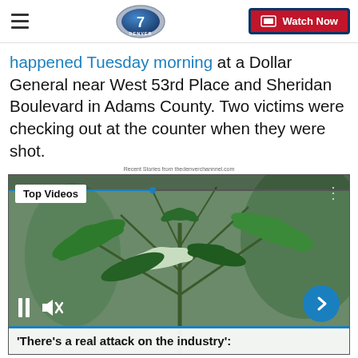Denver7 | Watch Now
happened Tuesday morning at a Dollar General near West 53rd Place and Sheridan Boulevard in Adams County. Two victims were checking out at the counter when they were shot.
Recent Stories from thedenverchannnel.com
[Figure (screenshot): Video player showing cannabis plant with 'Top Videos' badge, pause and mute controls, next arrow button, and caption bar reading "'There's a real attack on the industry':"]